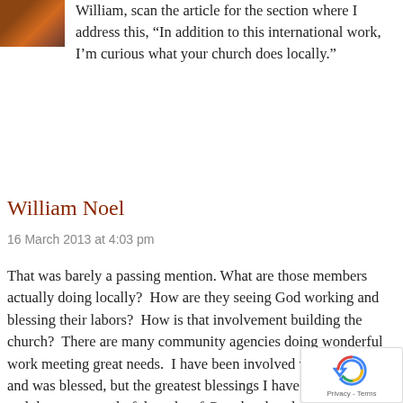[Figure (photo): Small avatar/profile photo thumbnail in top-left corner]
William, scan the article for the section where I address this, “In addition to this international work, I’m curious what your church does locally.”
William Noel
16 March 2013 at 4:03 pm
That was barely a passing mention. What are those members actually doing locally? How are they seeing God working and blessing their labors? How is that involvement building the church? There are many community agencies doing wonderful work meeting great needs. I have been involved with several and was blessed, but the greatest blessings I have experienced and the most wonderful works of God the church were not witnessed until had a focus on local, gift-based
[Figure (logo): reCAPTCHA badge with recycle-arrow logo and Privacy - Terms text]